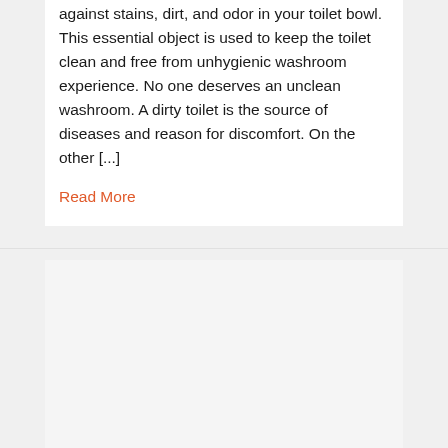against stains, dirt, and odor in your toilet bowl. This essential object is used to keep the toilet clean and free from unhygienic washroom experience. No one deserves an unclean washroom. A dirty toilet is the source of diseases and reason for discomfort. On the other [...]
Read More